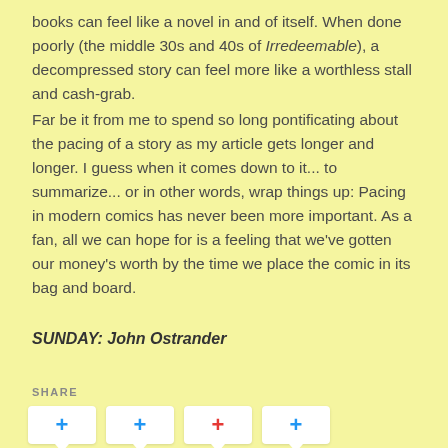books can feel like a novel in and of itself. When done poorly (the middle 30s and 40s of Irredeemable), a decompressed story can feel more like a worthless stall and cash-grab.
Far be it from me to spend so long pontificating about the pacing of a story as my article gets longer and longer. I guess when it comes down to it... to summarize... or in other words, wrap things up: Pacing in modern comics has never been more important. As a fan, all we can hope for is a feeling that we've gotten our money's worth by the time we place the comic in its bag and board.
SUNDAY: John Ostrander
SHARE